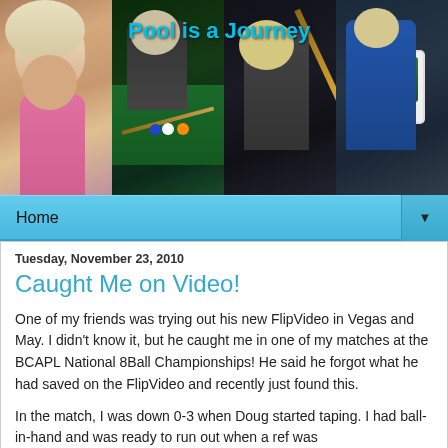[Figure (photo): Blog header banner showing four panels: a blonde woman smiling, a woman playing pool at a billiards table, a woman leaning over with a pool cue, and a woman holding a billiards trophy/plaque. Title text 'Pool is a Journey' overlaid in cyan.]
Pool is a Journey
Home
Tuesday, November 23, 2010
Caught Me on Video!
One of my friends was trying out his new FlipVideo in Vegas and May.  I didn't know it, but he caught me in one of my matches at the BCAPL National 8Ball Championships!  He said he forgot what he had saved on the FlipVideo and recently just found this.
In the match, I was down 0-3 when Doug started taping.  I had ball-in-hand and was ready to run out when a ref was